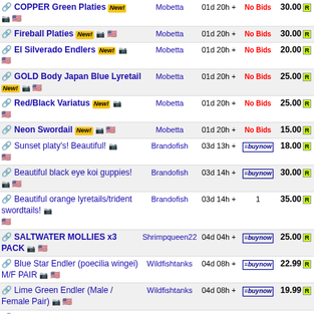COPPER Green Platies New! [camera] [flag] Mobetta 01d 20h + No Bids 30.00 R
Fireball Platies New! [camera] [flag] Mobetta 01d 20h + No Bids 30.00 R
El Silverado Endlers New! [camera] [flag] Mobetta 01d 20h + No Bids 20.00 R
GOLD Body Japan Blue Lyretail New! [camera] [flag] Mobetta 01d 20h + No Bids 25.00 R
Red/Black Variatus New! [camera] [flag] Mobetta 01d 20h + No Bids 25.00 R
Neon Swordail New! [camera] [flag] Mobetta 01d 20h + No Bids 15.00 R
Sunset platy's! Beautiful! [camera] [flag] Brandofish 03d 13h + buynow 18.00 R
Beautiful black eye koi guppies! [camera] [flag] Brandofish 03d 14h + buynow 30.00 R
Beautiful orange lyretails/trident swordtails! [camera] [flag] Brandofish 03d 14h + 1 35.00 R
SALTWATER MOLLIES x3 PACK [camera] [flag] Shrimpqueen22 04d 04h + buynow 25.00 R
Blue Star Endler (poecilia wingei) M/F PAIR [camera] [flag] Wildfishtanks 04d 08h + buynow 22.99 R
Lime Green Endler (Male / Female Pair) [camera] [flag] Wildfishtanks 04d 08h + buynow 19.99 R
PAIR El Tigre Endler (Poecilia wingei) USA BRED [camera] [flag] Wildfishtanks 04d 08h + buynow 19.99 R
Group of 10 assorted Nano_realms 05d 02h + buynow 10.00 R